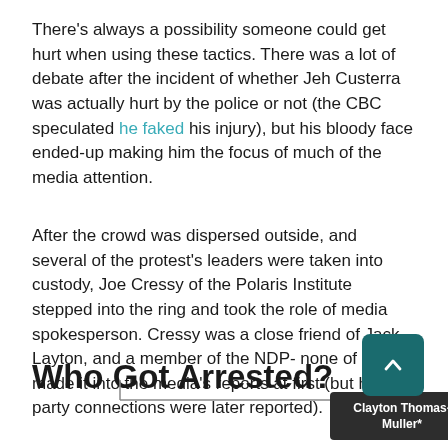There's always a possibility someone could get hurt when using these tactics. There was a lot of debate after the incident of whether Jeh Custerra was actually hurt by the police or not (the CBC speculated he faked his injury), but his bloody face ended-up making him the focus of much of the media attention.
After the crowd was dispersed outside, and several of the protest's leaders were taken into custody, Joe Cressy of the Polaris Institute stepped into the ring and took the role of media spokesperson. Cressy was a close friend of Jack Layton, and a member of the NDP- none of this made it into the media's reports at first (but his party connections were later reported).
Who Got Arrested?
[Figure (organizational-chart): Partial organizational chart showing node labeled 'Clayton Thomas-Muller*']